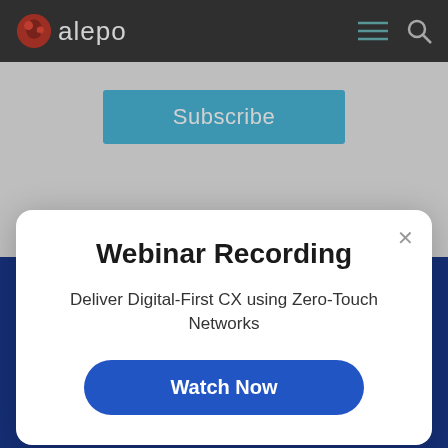alepo
Subscribe
[Figure (screenshot): Blue footer section with 'POWERED BY SUMO' badge, Products heading, and Digital BSS text]
Webinar Recording
Deliver Digital-First CX using Zero-Touch Networks
Watch Now